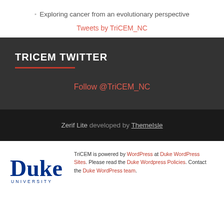Exploring cancer from an evolutionary perspective
Tweets by TriCEM_NC
TRICEM TWITTER
Follow @TriCEM_NC
Zerif Lite developed by ThemeIsle
[Figure (logo): Duke University logo in dark blue]
TriCEM is powered by WordPress at Duke WordPress Sites. Please read the Duke Wordpress Policies. Contact the Duke WordPress team.